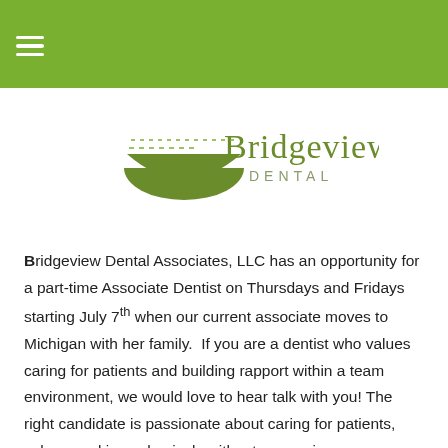[Figure (logo): Bridgeview Dental logo with green bowl/arch shape and text 'Bridgeview DENTAL']
Bridgeview Dental Associates, LLC has an opportunity for a part-time Associate Dentist on Thursdays and Fridays starting July 7th when our current associate moves to Michigan with her family. If you are a dentist who values caring for patients and building rapport within a team environment, we would love to hear talk with you! The right candidate is passionate about caring for patients, values working cohesively with a team, enjoys